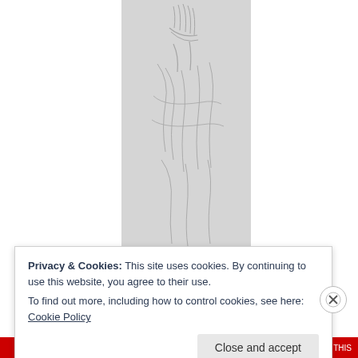[Figure (illustration): A pencil sketch drawing showing a figure, appears to be a classical or Renaissance-style sketch with hands and drapery visible. The sketch is in grayscale on a light gray background.]
Privacy & Cookies: This site uses cookies. By continuing to use this website, you agree to their use.
To find out more, including how to control cookies, see here: Cookie Policy
Close and accept